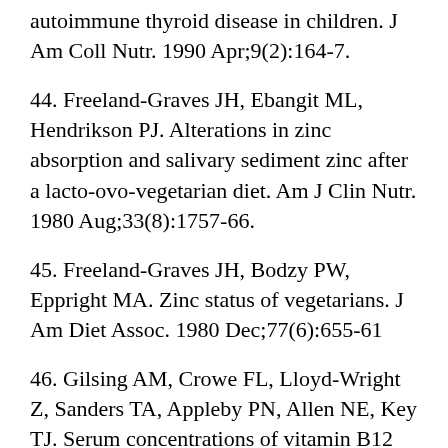autoimmune thyroid disease in children. J Am Coll Nutr. 1990 Apr;9(2):164-7.
44. Freeland-Graves JH, Ebangit ML, Hendrikson PJ. Alterations in zinc absorption and salivary sediment zinc after a lacto-ovo-vegetarian diet. Am J Clin Nutr. 1980 Aug;33(8):1757-66.
45. Freeland-Graves JH, Bodzy PW, Eppright MA. Zinc status of vegetarians. J Am Diet Assoc. 1980 Dec;77(6):655-61
46. Gilsing AM, Crowe FL, Lloyd-Wright Z, Sanders TA, Appleby PN, Allen NE, Key TJ. Serum concentrations of vitamin B12 and folate in British male omnivores, vegetarians and vegans: results from a cross-sectional analysis of the EPIC-Oxford cohort study. Eur J Clin Nutr. 2010 Sep;64(9):933-9